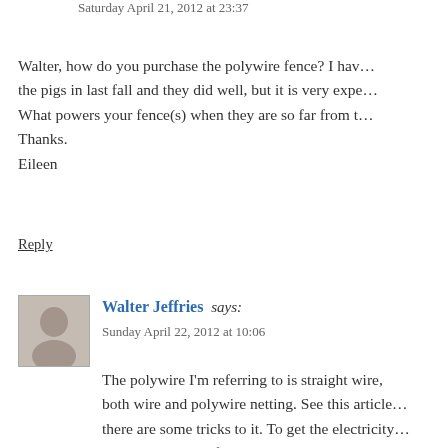Saturday April 21, 2012 at 23:37
Walter, how do you purchase the polywire fence? I have the pigs in last fall and they did well, but it is very expe... What powers your fence(s) when they are so far from t... Thanks.
Eileen
Reply
Walter Jeffries says:
Sunday April 22, 2012 at 10:06
The polywire I'm referring to is straight wire, both wire and polywire netting. See this article there are some tricks to it. To get the electricity outside perimeter fence which is about 1.5 mil... off of two chargers, one to the north half and o... the load incase one section gets shorted.
For fence energizers I like the ones we got fro...